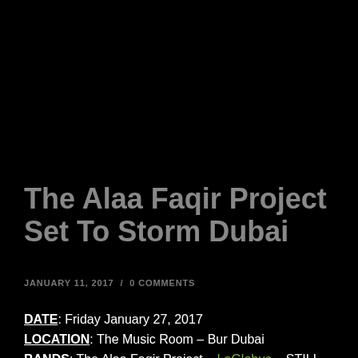The Alaa Faqir Project Set To Storm Dubai
JANUARY 11, 2017  /  0 COMMENTS
DATE: Friday January 27, 2017
LOCATION: The Music Room – Bur Dubai
BANDS: The Alaa Faqir Project – LaGlobus – STILL RAW – Sandstörm
ENTRANCE: 80 AED